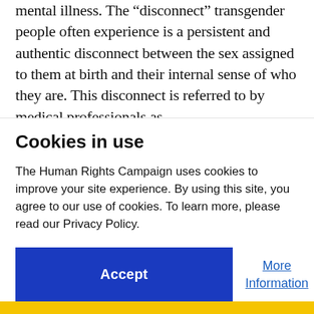mental illness. The “disconnect” transgender people often experience is a persistent and authentic disconnect between the sex assigned to them at birth and their internal sense of who they are. This disconnect is referred to by medical professionals as
Cookies in use
The Human Rights Campaign uses cookies to improve your site experience. By using this site, you agree to our use of cookies. To learn more, please read our Privacy Policy.
Accept
More Information